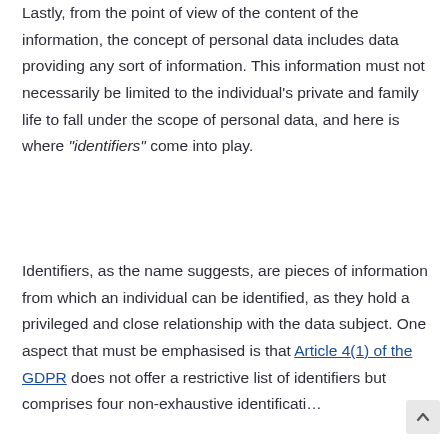Lastly, from the point of view of the content of the information, the concept of personal data includes data providing any sort of information. This information must not necessarily be limited to the individual's private and family life to fall under the scope of personal data, and here is where “identifiers” come into play.
Identifiers, as the name suggests, are pieces of information from which an individual can be identified, as they hold a privileged and close relationship with the data subject. One aspect that must be emphasised is that Article 4(1) of the GDPR does not offer a restrictive list of identifiers but comprises four non-exhaustive identification...